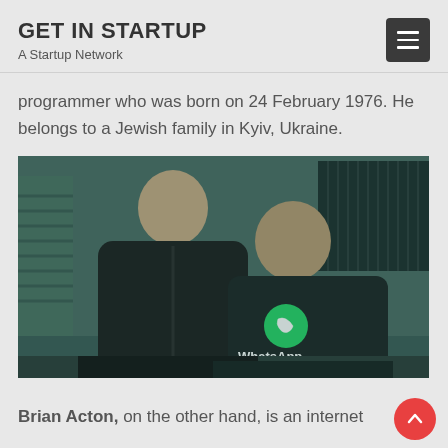GET IN STARTUP
A Startup Network
programmer who was born on 24 February 1976. He belongs to a Jewish family in Kyiv, Ukraine.
[Figure (photo): Two men smiling together indoors; the man on the right wears a dark hoodie with a WhatsApp logo on it. The photo has a teal/dark color tint.]
Brian Acton, on the other hand, is an internet